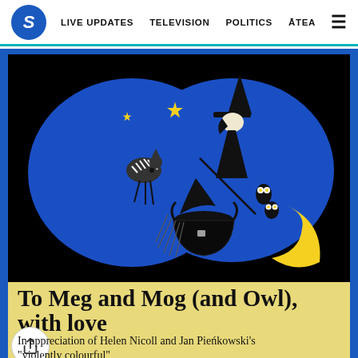S | LIVE UPDATES  TELEVISION  POLITICS  ĀTEA  ☰
[Figure (illustration): Illustration from Meg and Mog children's book: black background with two large blue blob shapes, showing a witch in black with a pointed hat standing on a broomstick, a striped cat, stars, a yellow crescent moon, a black cauldron, and an owl. Colorful and stylized art by Jan Pieńkowski.]
To Meg and Mog (and Owl), with love
In appreciation of Helen Nicoll and Jan Pieńkowski's "violently colourful"